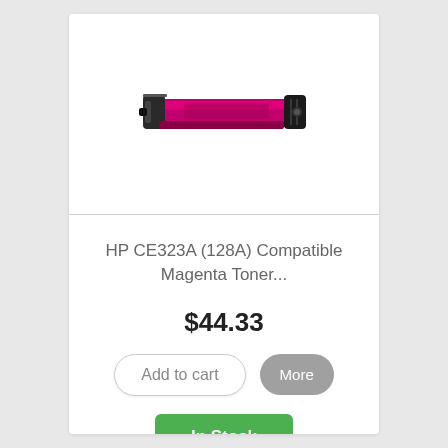[Figure (photo): HP CE323A (128A) Compatible Magenta Toner cartridge product image, showing a slim elongated magenta/pink toner cartridge with black plastic housing]
HP CE323A (128A) Compatible Magenta Toner...
$44.33
Add to cart
More
In Stock